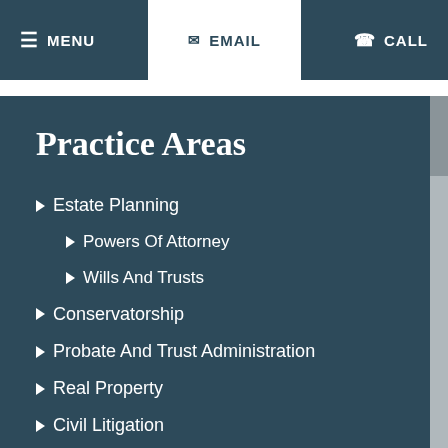MENU | EMAIL | CALL
Practice Areas
Estate Planning
Powers Of Attorney
Wills And Trusts
Conservatorship
Probate And Trust Administration
Real Property
Civil Litigation